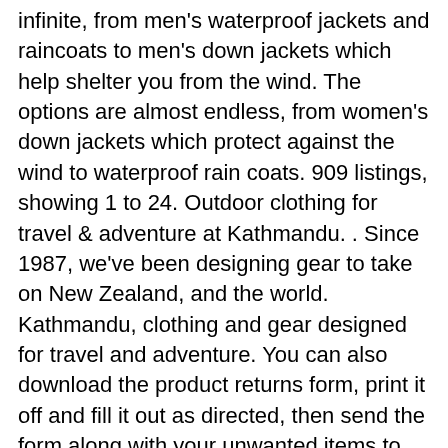infinite, from men's waterproof jackets and raincoats to men's down jackets which help shelter you from the wind. The options are almost endless, from women's down jackets which protect against the wind to waterproof rain coats. 909 listings, showing 1 to 24. Outdoor clothing for travel & adventure at Kathmandu. . Since 1987, we've been designing gear to take on New Zealand, and the world. Kathmandu, clothing and gear designed for travel and adventure. You can also download the product returns form, print it off and fill it out as directed, then send the form along with your unwanted items to Kathmandu's postal address. Our range includes men's winter jackets and coats designed to help you beat the chill, as well as 3-in-1 jackets, Gore-Tex jackets for men and other windproof and ... Kathmandu reserves the right to accept a refund or exchange request due to charge of mind. finder.com compares a wide range of products, providers and services but we don't provide information on all available products, providers or services. Last verified Photo / File, Aimee Shaw is a business reporter focusing on retail, small business. Let us guide you to the online stores that offer the navigation tools you